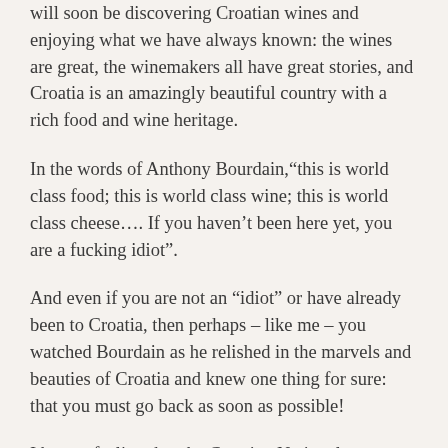will soon be discovering Croatian wines and enjoying what we have always known: the wines are great, the winemakers all have great stories, and Croatia is an amazingly beautiful country with a rich food and wine heritage.
In the words of Anthony Bourdain,“this is world class food; this is world class wine; this is world class cheese…. If you haven’t been here yet, you are a fucking idiot”.
And even if you are not an “idiot” or have already been to Croatia, then perhaps – like me – you watched Bourdain as he relished in the marvels and beauties of Croatia and knew one thing for sure: that you must go back as soon as possible!
I have a feeling that the Croatian National